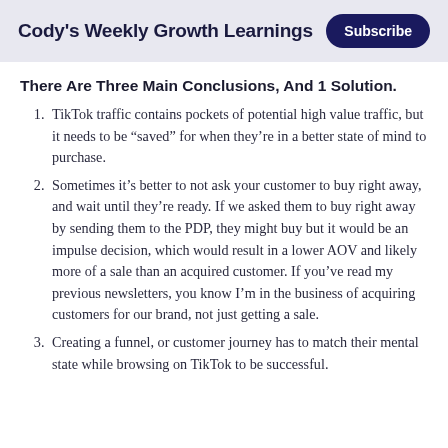Cody's Weekly Growth Learnings
There Are Three Main Conclusions, And 1 Solution.
TikTok traffic contains pockets of potential high value traffic, but it needs to be “saved” for when they’re in a better state of mind to purchase.
Sometimes it’s better to not ask your customer to buy right away, and wait until they’re ready. If we asked them to buy right away by sending them to the PDP, they might buy but it would be an impulse decision, which would result in a lower AOV and likely more of a sale than an acquired customer. If you’ve read my previous newsletters, you know I’m in the business of acquiring customers for our brand, not just getting a sale.
Creating a funnel, or customer journey has to match their mental state while browsing on TikTok to be successful.